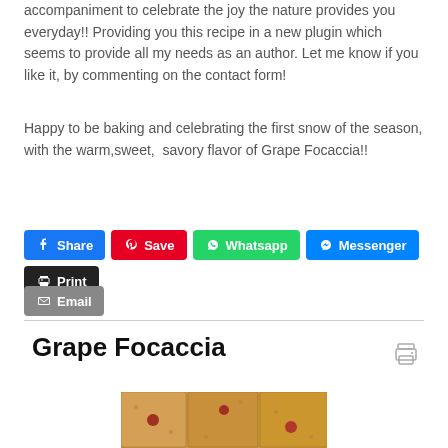accompaniment to celebrate the joy the nature provides you everyday!! Providing you this recipe in a new plugin which seems to provide all my needs as an author. Let me know if you like it, by commenting on the contact form!
Happy to be baking and celebrating the first snow of the season, with the warm,sweet,  savory flavor of Grape Focaccia!!
Share  Save  Whatsapp  Messenger  Print  Email
Grape Focaccia
[Figure (photo): Grape Focaccia bread cut into squares with grapes on top, golden brown baked pieces arranged on a dark surface]